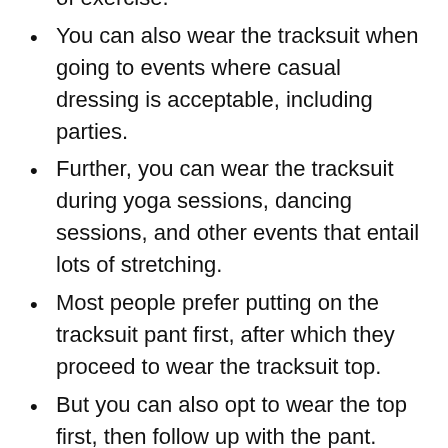of exercise.
You can also wear the tracksuit when going to events where casual dressing is acceptable, including parties.
Further, you can wear the tracksuit during yoga sessions, dancing sessions, and other events that entail lots of stretching.
Most people prefer putting on the tracksuit pant first, after which they proceed to wear the tracksuit top.
But you can also opt to wear the top first, then follow up with the pant.
Almost all tracksuits for girls are washable by hand.
A few require machine washing. Most of these tracksuits can't endure bleaching.